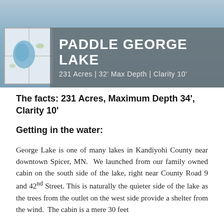[Figure (photo): Banner image showing a person standing in water (lake scene), with a map inset on the left and a gray overlay panel displaying 'PADDLE GEORGE LAKE' title and lake statistics: 231 Acres | 32' Max Depth | Clarity 10']
The facts: 231 Acres, Maximum Depth 34', Clarity 10'
Getting in the water:
George Lake is one of many lakes in Kandiyohi County near downtown Spicer, MN. We launched from our family owned cabin on the south side of the lake, right near County Road 9 and 42nd Street. This is naturally the quieter side of the lake as the trees from the outlet on the west side provide a shelter from the wind. The cabin is a mere 30 feet